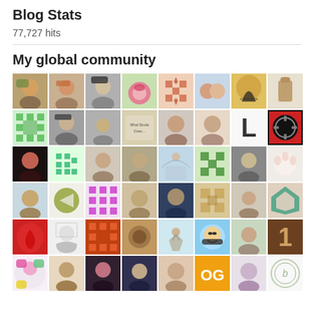Blog Stats
77,727 hits
My global community
[Figure (photo): Grid of blog follower avatar photos and icons, 8 columns wide, 6+ rows showing various profile pictures, illustrations, and abstract icons representing the blogger's global community.]